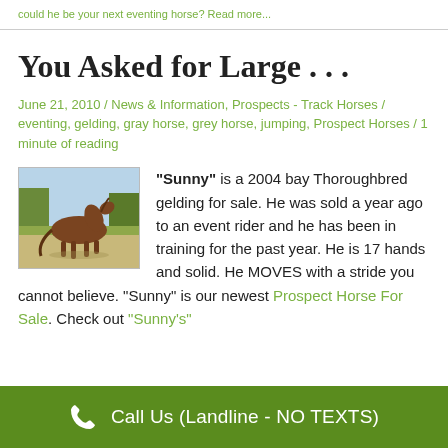could he be your next eventing horse? Read more...
You Asked for Large . . .
June 21, 2010 / News & Information, Prospects - Track Horses / eventing, gelding, gray horse, grey horse, jumping, Prospect Horses / 1 minute of reading
[Figure (photo): A bay Thoroughbred horse running or trotting in a field]
"Sunny" is a 2004 bay Thoroughbred gelding for sale. He was sold a year ago to an event rider and he has been in training for the past year. He is 17 hands and solid. He MOVES with a stride you cannot believe. "Sunny" is our newest Prospect Horse For Sale. Check out "Sunny's"
Call Us (Landline - NO TEXTS)